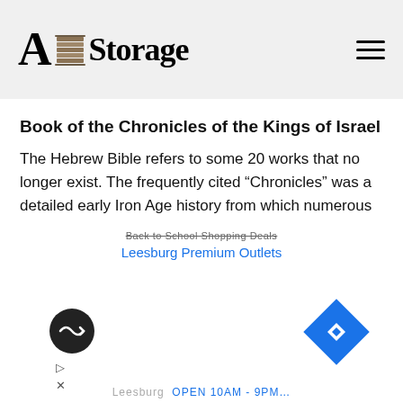A Storage
Book of the Chronicles of the Kings of Israel
The Hebrew Bible refers to some 20 works that no longer exist. The frequently cited “Chronicles” was a detailed early Iron Age history from which numerous other biblical narratives may have been drawn.
(Harry Campbell)
[Figure (screenshot): Red advertisement banner with text THE YEAR THAT in orange, overlaid on a red background with small white text fragments]
[Figure (screenshot): White advertisement area showing Back to School Shopping Deals - Leesburg Premium Outlets, with a circular dark icon and a blue diamond turn icon, and navigation arrows]